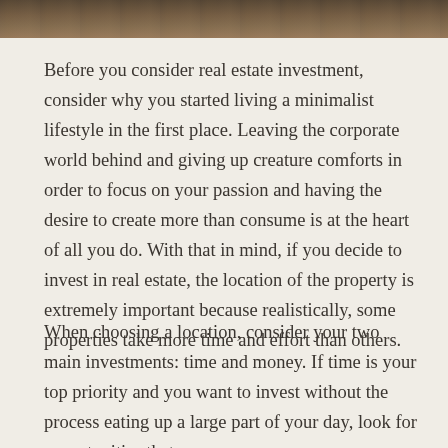[Figure (photo): Landscape or nature photograph strip at top of page, showing earthy brown/olive tones suggesting trees or terrain.]
Before you consider real estate investment, consider why you started living a minimalist lifestyle in the first place. Leaving the corporate world behind and giving up creature comforts in order to focus on your passion and having the desire to create more than consume is at the heart of all you do. With that in mind, if you decide to invest in real estate, the location of the property is extremely important because realistically, some properties take more time and effort than others.
When choosing a location, consider your two main investments: time and money. If time is your top priority and you want to invest without the process eating up a large part of your day, look for opportunities that are